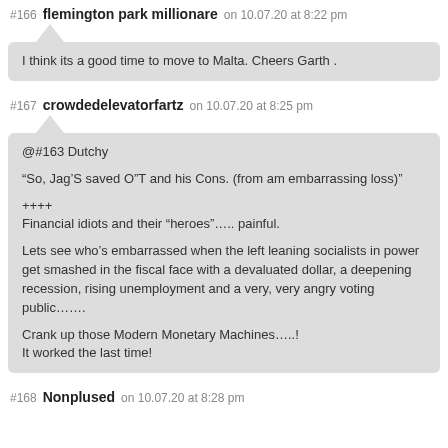#166 flemington park millionare on 10.07.20 at 8:22 pm
I think its a good time to move to Malta. Cheers Garth .
#167 crowdedelevatorfartz on 10.07.20 at 8:25 pm
@#163 Dutchy

"So, Jag'S saved O"T and his Cons. (from am embarrassing loss)"

++++
Financial idiots and their "heroes"..... painful.

Lets see who's embarrassed when the left leaning socialists in power get smashed in the fiscal face with a devaluated dollar, a deepening recession, rising unemployment and a very, very angry voting public.......

Crank up those Modern Monetary Machines.....!
It worked the last time!
#168 Nonplused on 10.07.20 at 8:28 pm